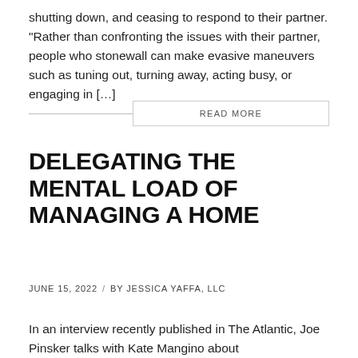shutting down, and ceasing to respond to their partner. “Rather than confronting the issues with their partner, people who stonewall can make evasive maneuvers such as tuning out, turning away, acting busy, or engaging in […]
READ MORE
DELEGATING THE MENTAL LOAD OF MANAGING A HOME
JUNE 15, 2022 / BY JESSICA YAFFA, LLC
In an interview recently published in The Atlantic, Joe Pinsker talks with Kate Mangino about highlights of her new book, Equal Par…